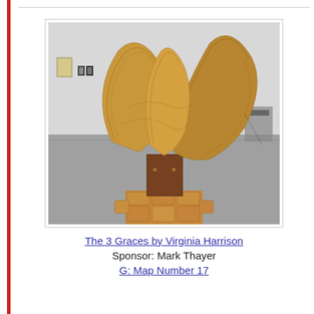[Figure (photo): A large wooden sculpture with wing-like or petal-like curved forms rising from a rectangular wooden pedestal base with brick-like platform, photographed indoors in a gallery-like space with grey concrete floor and white walls.]
The 3 Graces by Virginia Harrison
Sponsor: Mark Thayer
G: Map Number 17